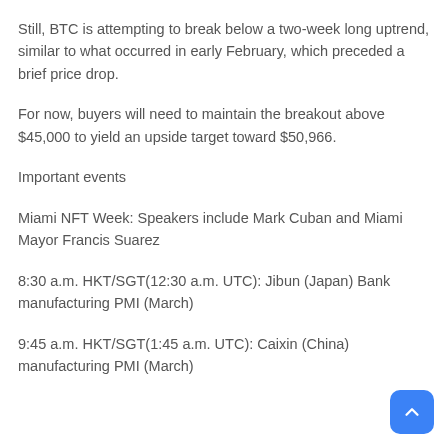Still, BTC is attempting to break below a two-week long uptrend, similar to what occurred in early February, which preceded a brief price drop.
For now, buyers will need to maintain the breakout above $45,000 to yield an upside target toward $50,966.
Important events
Miami NFT Week: Speakers include Mark Cuban and Miami Mayor Francis Suarez
8:30 a.m. HKT/SGT(12:30 a.m. UTC): Jibun (Japan) Bank manufacturing PMI (March)
9:45 a.m. HKT/SGT(1:45 a.m. UTC): Caixin (China) manufacturing PMI (March)